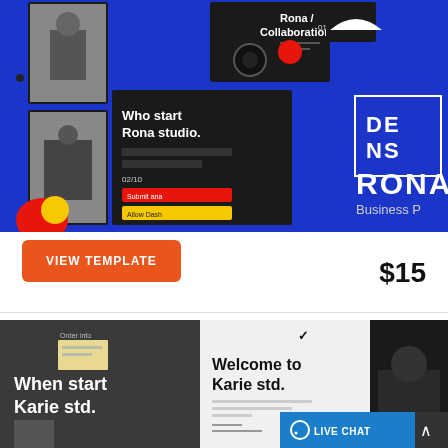[Figure (screenshot): Screenshot of a business presentation/PowerPoint template product called RONA on a blue background. Shows dark-themed slide designs with a person in black and white photography, red and yellow design elements, text 'Who start Rona studio.', and a DENS logo in a square border. The right side shows text 'RONA' and 'Business P...' partially cut off.]
VIEW TEMPLATE
$15
[Figure (screenshot): Screenshot of another presentation template called 'Karie std.' showing dark-themed slide mockups with text 'When start Karie std.' and 'Welcome to Karie std.' overlaid on dark backgrounds. A LIVE CHAT button is visible at the bottom right.]